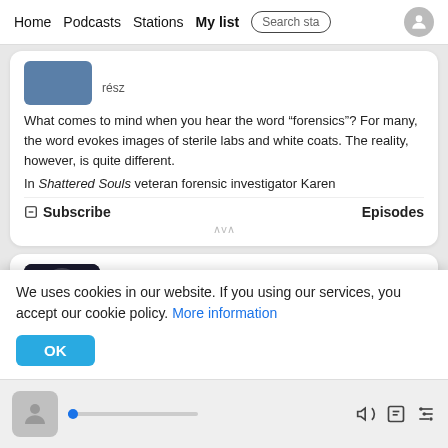Home  Podcasts  Stations  My list  Search sta
rész
What comes to mind when you hear the word “forensics”? For many, the word evokes images of sterile labs and white coats. The reality, however, is quite different.
In Shattered Souls veteran forensic investigator Karen
Subscribe   Episodes
[Figure (screenshot): Up and Vanished podcast card with dark thumbnail showing silhouette, title 'Up and Vanished' in blue, subtitle 'Tenderfoot TV True Crime 104 rész']
We uses cookies in our website. If you using our services, you accept our cookie policy. More information
Payne recites his first cold case story, the unsolved
Player bar with avatar, progress track, volume, bookmark, and equalizer icons